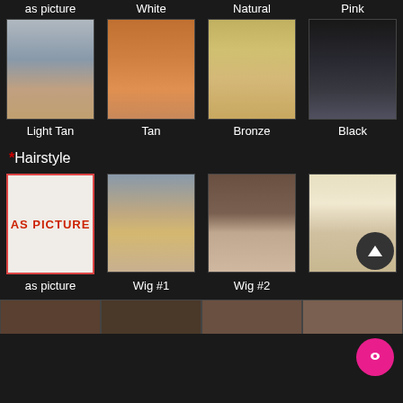as picture
White
Natural
Pink
[Figure (photo): Four product photos showing skin tone options: Light Tan, Tan, Bronze, Black]
Light Tan
Tan
Bronze
Black
*Hairstyle
[Figure (photo): Four hairstyle option thumbnails: as picture, Wig #1, Wig #2, and a fourth option]
as picture
Wig #1
Wig #2
[Figure (photo): Bottom strip showing additional hairstyle options]